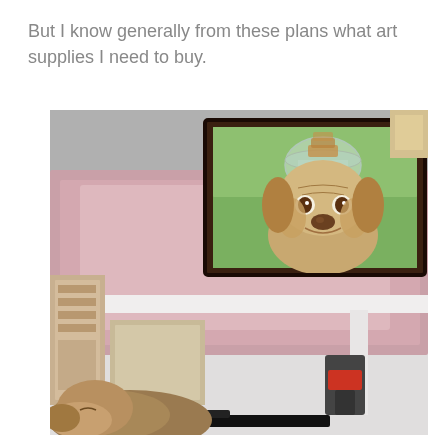But I know generally from these plans what art supplies I need to buy.
[Figure (photo): A framed painting of a dog (mastiff/bloodhound) balancing a glass jar with cookies on its head, displayed on a pink fuzzy cloth on a white table. A real dog is visible sleeping in the lower left. Workshop/studio setting with tools visible underneath the table.]